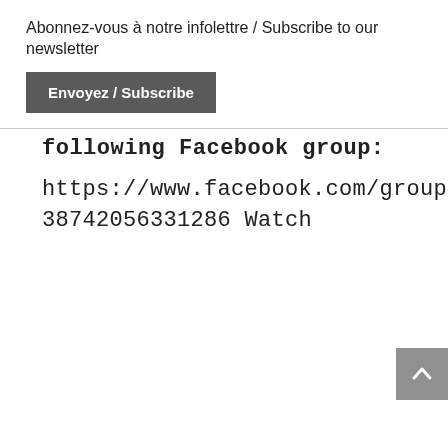×
Abonnez-vous à notre infolettre / Subscribe to our newsletter
Envoyez / Subscribe
following Facebook group:
https://www.facebook.com/groups/338742056331286 Watch